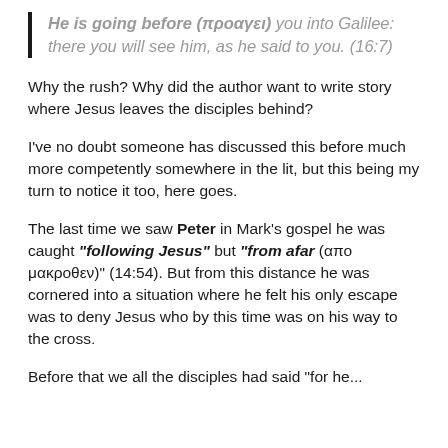He is going before (προαγει) you into Galilee: there you will see him, as he said to you. (16:7)
Why the rush? Why did the author want to write story where Jesus leaves the disciples behind?
I've no doubt someone has discussed this before much more competently somewhere in the lit, but this being my turn to notice it too, here goes.
The last time we saw Peter in Mark's gospel he was caught "following Jesus" but "from afar (απο μακροθεν)" (14:54). But from this distance he was cornered into a situation where he felt his only escape was to deny Jesus who by this time was on his way to the cross.
Before that we all the disciples had said "for he...